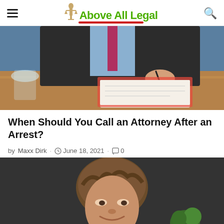Above All Legal
[Figure (photo): Partial view of a person in business attire signing a document at a desk]
When Should You Call an Attorney After an Arrest?
by Maxx Dirk  June 18, 2021  0
[Figure (photo): Portrait of a middle-aged man with brown hair, smiling slightly, wearing a dark jacket, with a plant visible in the background]